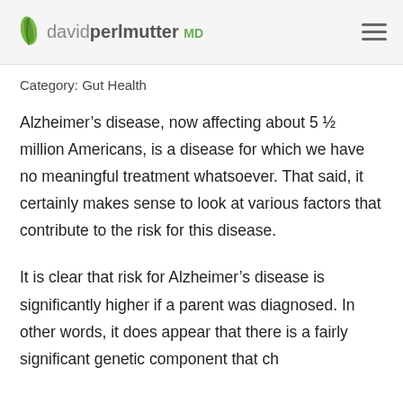davidperlmutter MD
Category: Gut Health
Alzheimer’s disease, now affecting about 5 ½ million Americans, is a disease for which we have no meaningful treatment whatsoever. That said, it certainly makes sense to look at various factors that contribute to the risk for this disease.
It is clear that risk for Alzheimer’s disease is significantly higher if a parent was diagnosed. In other words, it does appear that there is a fairly significant genetic component that ch...